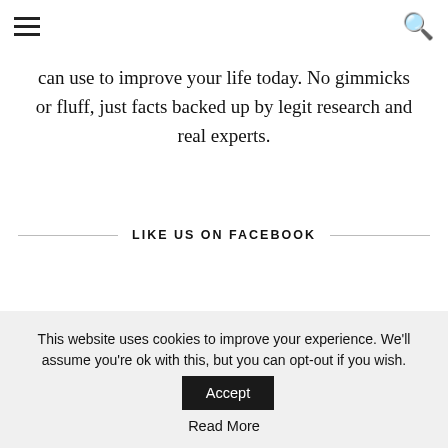≡  🔍
can use to improve your life today. No gimmicks or fluff, just facts backed up by legit research and real experts.
LIKE US ON FACEBOOK
ON PINTEREST
This website uses cookies to improve your experience. We'll assume you're ok with this, but you can opt-out if you wish.  Accept
Read More